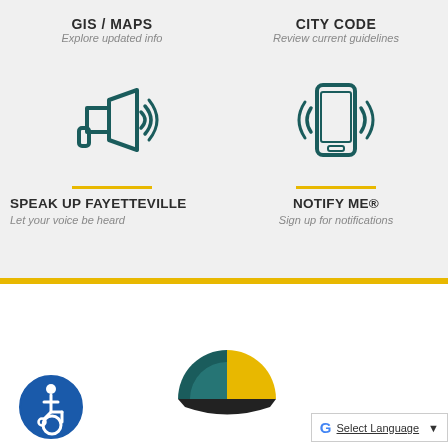GIS / MAPS
Explore updated info
CITY CODE
Review current guidelines
[Figure (illustration): Megaphone icon representing Speak Up Fayetteville]
[Figure (illustration): Mobile phone with signal waves representing Notify Me]
SPEAK UP FAYETTEVILLE
Let your voice be heard
NOTIFY ME®
Sign up for notifications
[Figure (logo): Fayetteville city logo - sun and landscape semicircle in yellow, teal, and dark colors]
[Figure (illustration): Accessibility icon - person in wheelchair in blue circle]
Select Language